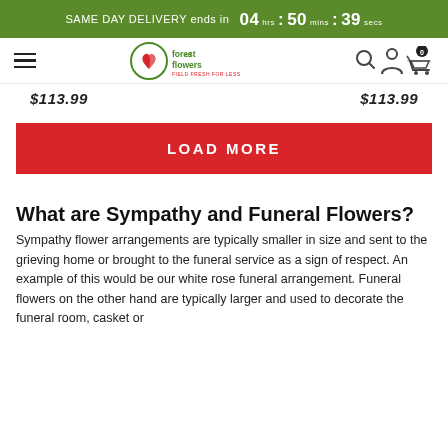SAME DAY DELIVERY ends in  04 hrs : 50 mins : 39 secs
[Figure (logo): Forest of Flowers logo with hamburger menu, search, account, and cart icons in navigation bar]
$113.99  $113.99
LOAD MORE
What are Sympathy and Funeral Flowers?
Sympathy flower arrangements are typically smaller in size and sent to the grieving home or brought to the funeral service as a sign of respect. An example of this would be our white rose funeral arrangement. Funeral flowers on the other hand are typically larger and used to decorate the funeral room, casket or